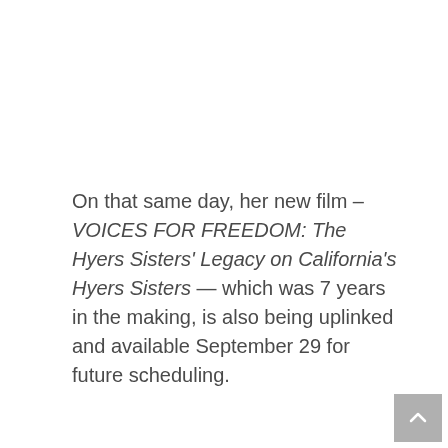On that same day, her new film – VOICES FOR FREEDOM: The Hyers Sisters' Legacy on California's Hyers Sisters — which was 7 years in the making, is also being uplinked and available September 29 for future scheduling.